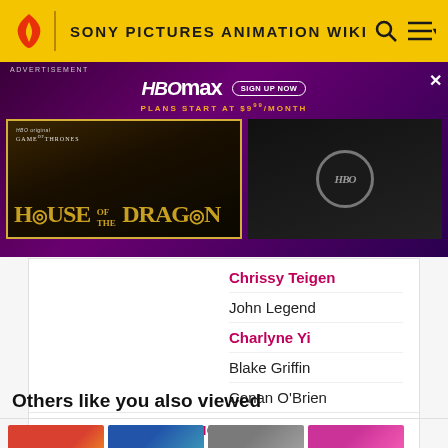SONY PICTURES ANIMATION WIKI
[Figure (screenshot): HBO Max advertisement banner featuring House of the Dragon promo image and HBO logo]
Chrissy Teigen
John Legend
Charlyne Yi
Blake Griffin
Conan O'Brien
MORE
Others like you also viewed